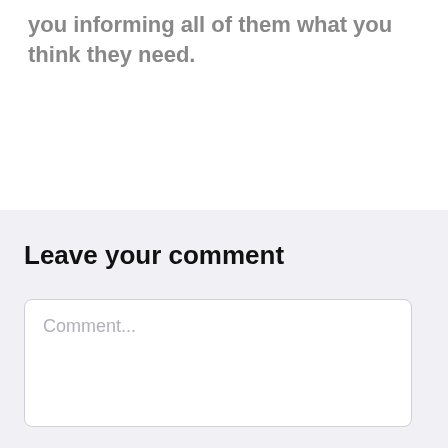you informing all of them what you think they need.
Leave your comment
Comment...